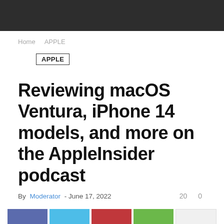Home   APPLE
APPLE
Reviewing macOS Ventura, iPhone 14 models, and more on the AppleInsider podcast
By Moderator - June 17, 2022   20   0
[Figure (other): Social share buttons: Facebook (blue-purple), Twitter (light blue), Pinterest (red), WhatsApp (green), More (white/grey)]